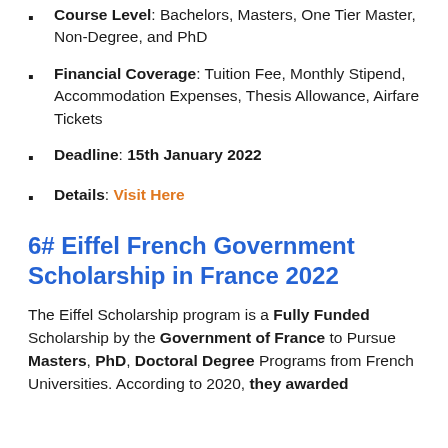Course Level: Bachelors, Masters, One Tier Master, Non-Degree, and PhD
Financial Coverage: Tuition Fee, Monthly Stipend, Accommodation Expenses, Thesis Allowance, Airfare Tickets
Deadline: 15th January 2022
Details: Visit Here
6# Eiffel French Government Scholarship in France 2022
The Eiffel Scholarship program is a Fully Funded Scholarship by the Government of France to Pursue Masters, PhD, Doctoral Degree Programs from French Universities. According to 2020, they awarded